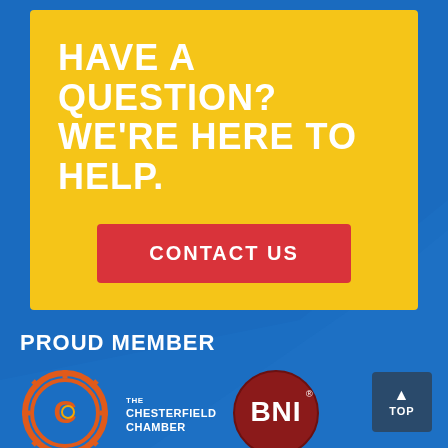HAVE A QUESTION? WE'RE HERE TO HELP.
CONTACT US
PROUD MEMBER
[Figure (logo): Chesterfield Chamber logo - orange gear with C inside, white text THE CHESTERFIELD CHAMBER]
[Figure (logo): BNI logo - dark red circle with white BNI text]
TOP